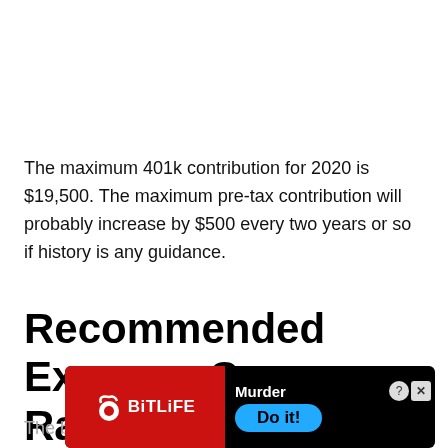The maximum 401k contribution for 2020 is $19,500. The maximum pre-tax contribution will probably increase by $500 every two years or so if history is any guidance.
Recommended Expense Coverage Ratio By Age
The b... chart... th of